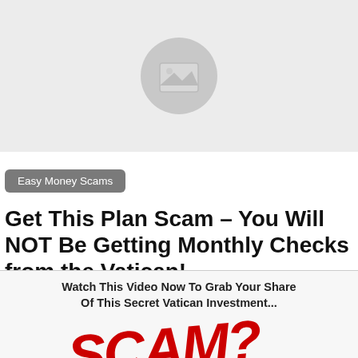[Figure (photo): Gray image placeholder with a mountain/landscape icon in the center, rounded circle shape]
Easy Money Scams
Get This Plan Scam – You Will NOT Be Getting Monthly Checks from the Vatican!
Watch This Video Now To Grab Your Share Of This Secret Vatican Investment...
[Figure (photo): Handwritten red text reading SCAM overlapping the bottom section]